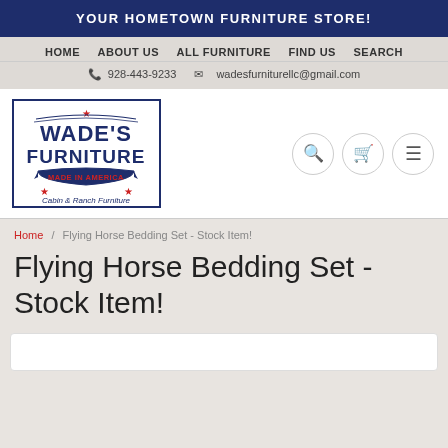YOUR HOMETOWN FURNITURE STORE!
HOME   ABOUT US   ALL FURNITURE   FIND US   SEARCH
928-443-9233   wadesfurniturellc@gmail.com
[Figure (logo): Wade's Furniture logo: dark blue text reading WADE'S FURNITURE with stars and a banner reading MADE IN AMERICA, subtitle Cabin & Ranch Furniture]
Home / Flying Horse Bedding Set - Stock Item!
Flying Horse Bedding Set - Stock Item!